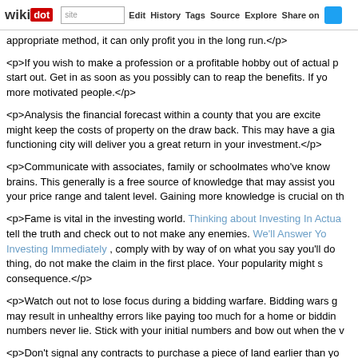wikidot | site | Edit | History | Tags | Source | Explore | Share on [Twitter]
appropriate method, it can only profit you in the long run.</p>
<p>If you wish to make a profession or a profitable hobby out of actual property investment, the time is right to start out. Get in as soon as you possibly can to reap the benefits. If you wait too long, you are behind many of the more motivated people.</p>
<p>Analysis the financial forecast within a county that you are excited about investing in. High unemployment and a shortage of decent jobs might keep the costs of property on the draw back. This may have a giant effect on the bottom line. A city that is functioning will deliver you a great return in your investment.</p>
<p>Communicate with associates, family or schoolmates who've knowledge of the business and pick their brains. This generally is a free source of knowledge that may assist you to develop the perfect strategy that fits your price range and talent level. Gaining more knowledge is crucial on this business.</p>
<p>Fame is vital in the investing world. Thinking about Investing In Actual Property? Try These Tips And Tricks tell the truth and check out to not make any enemies. We'll Answer Your Pressing Questions About Real Estate Investing Immediately , comply with by way of on what you say you'll do. If you don't really feel you can do a thing, do not make the claim in the first place. Your popularity might suffer and effect your business as a consequence.</p>
<p>Watch out not to lose focus during a bidding warfare. Bidding wars get folks emotionally charged up. That may result in unhealthy errors like paying too much for a home or bidding against yourself. Remember, the numbers never lie. Stick with your initial numbers and bow out when the worth goes over them.</p>
<p>Don't signal any contracts to purchase a piece of land earlier than you do your analysis first. You'll want to take possession of the land. Rent your individual surveyor to identify the land boundaries clearly. This prevents misrepresentation of the piece of property for sale, and it mitigates any future problems.</p>
<p>Sure prices included with actual property investment do not always yield directly traceable and tangible benefits. These embody advertising and inspections. Yet, it's essential to always treat these as investments, because they imply you discover potential deals and prevent yourself from getting involved in bad ones that lose you a lot of money.</p>